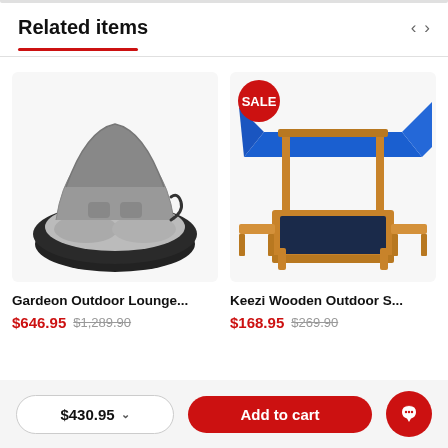Related items
[Figure (photo): Gardeon outdoor round lounge chair with dark wicker base, gray cushions and arched canopy]
Gardeon Outdoor Lounge...
$646.95  $1,289.90
[Figure (photo): Keezi wooden outdoor sandbox with blue canopy/awning, bench seats folded out, with SALE badge]
Keezi Wooden Outdoor S...
$168.95  $269.90
$430.95 ∨
Add to cart